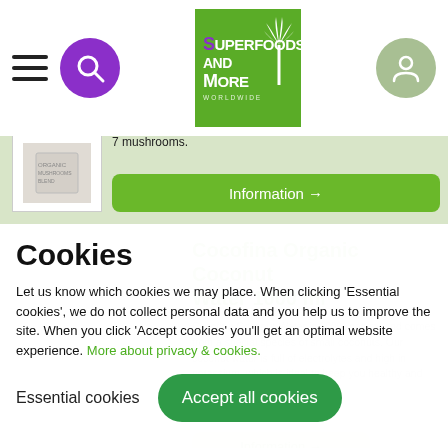[Figure (screenshot): Website header navigation bar with hamburger menu, purple search button, Superfoods and More logo, and sage green account button]
7 mushrooms.
Information →
Cookies
Let us know which cookies we may place. When clicking 'Essential cookies', we do not collect personal data and you help us to improve the site. When you click 'Accept cookies' you'll get an optimal website experience. More about privacy & cookies.
Essential cookies
Accept all cookies